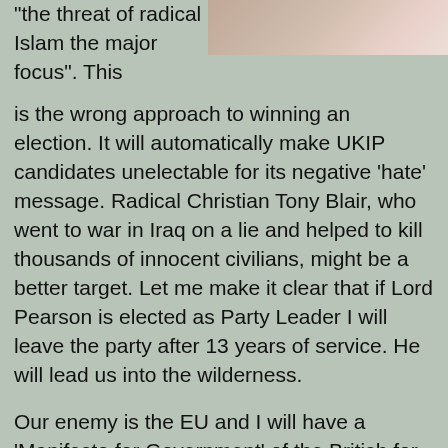[Figure (photo): Partial photo of a person visible in the top right corner of the page]
"the threat of radical Islam the major focus". This is the wrong approach to winning an election. It will automatically make UKIP candidates unelectable for its negative 'hate' message. Radical Christian Tony Blair, who went to war in Iraq on a lie and helped to kill thousands of innocent civilians, might be a better target. Let me make it clear that if Lord Pearson is elected as Party Leader I will leave the party after 13 years of service. He will lead us into the wilderness.

Our enemy is the EU and I will have a 'Manifesto for Government' of the British for the British.

Most importantly, the anti-EU parties in UK have to work together rather than splinter the vote. I am already in discussion with others outside of UKIP to explore where all anti-EU people other than BNP can work together for the benefit of the 'cause'. The BNP have hijacked the anti-EU cause and we have to show the people affected by EU immigration policies that its the EU and not ethnicity or